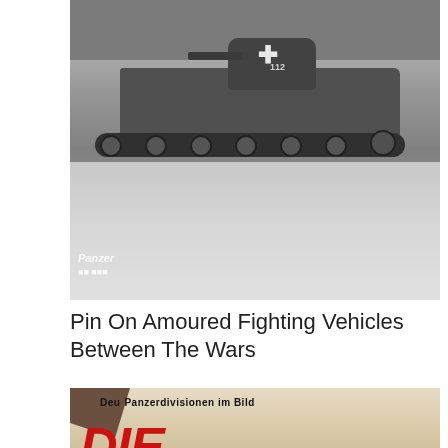[Figure (photo): Black and white photograph of a World War II era German Panzer tank (numbered 112) with a white cross insignia on the turret, moving on a cobblestone/gravel surface with trees in the background. A watermark reads 'Panzer' in the lower left.]
Pin On Amoured Fighting Vehicles Between The Wars
[Figure (photo): Photograph of a book cover with a torn corner in the upper left. Text reads 'Deutsche Panzerdivisionen im Bild' at the top and 'DIE 1. PANZER' in large red letters at the bottom, on a worn cream/beige background.]